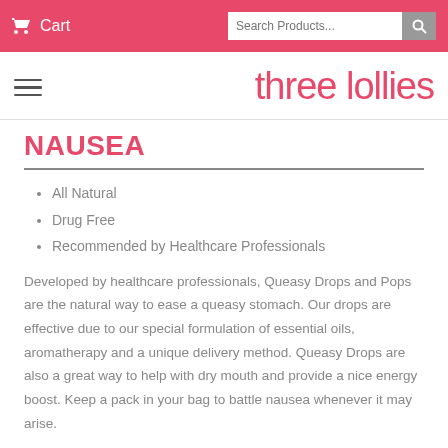Cart | Search Products...
[Figure (logo): three lollies brand logo in pink text with hamburger menu icon]
NAUSEA
All Natural
Drug Free
Recommended by Healthcare Professionals
Developed by healthcare professionals, Queasy Drops and Pops are the natural way to ease a queasy stomach. Our drops are effective due to our special formulation of essential oils, aromatherapy and a unique delivery method. Queasy Drops are also a great way to help with dry mouth and provide a nice energy boost. Keep a pack in your bag to battle nausea whenever it may arise.